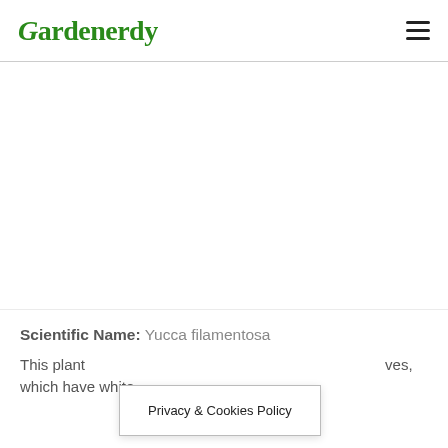Gardenerdy
[Figure (other): Large white/blank advertisement or image area below the header]
Scientific Name: Yucca filamentosa
This plant ... ves, which have white
Privacy & Cookies Policy